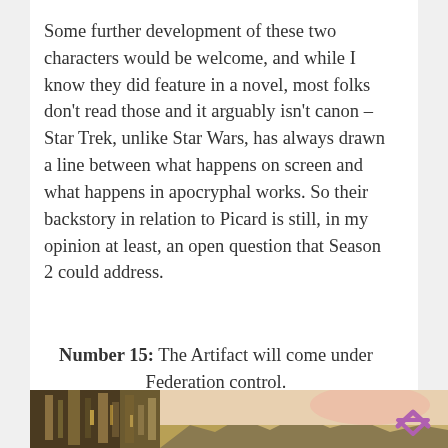Some further development of these two characters would be welcome, and while I know they did feature in a novel, most folks don't read those and it arguably isn't canon – Star Trek, unlike Star Wars, has always drawn a line between what happens on screen and what happens in apocryphal works. So their backstory in relation to Picard is still, in my opinion at least, an open question that Season 2 could address.
Number 15: The Artifact will come under Federation control.
[Figure (photo): A scene from Star Trek Picard showing a large mechanical/Borg structure on the left side against a landscape with mountains and a pinkish sky on the right, with a purple/pink upward-pointing caret icon in the upper right corner.]